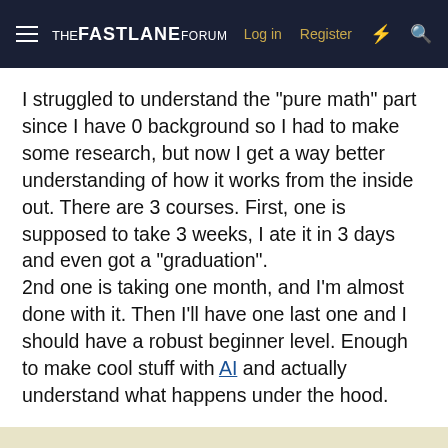THE FASTLANE FORUM — Log in  Register
I struggled to understand the "pure math" part since I have 0 background so I had to make some research, but now I get a way better understanding of how it works from the inside out. There are 3 courses. First, one is supposed to take 3 weeks, I ate it in 3 days and even got a "graduation".
2nd one is taking one month, and I'm almost done with it. Then I'll have one last one and I should have a robust beginner level. Enough to make cool stuff with AI and actually understand what happens under the hood.
This site uses cookies to help personalise content, tailor your experience and to keep you logged in if you register.
By continuing to use this site, you are consenting to our use of cookies.
Accept  Learn more...